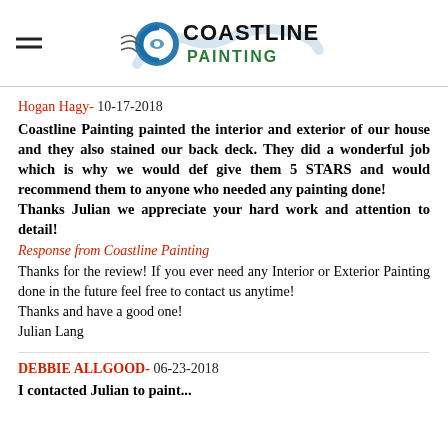Coastline Painting logo
Hogan Hagy- 10-17-2018
Coastline Painting painted the interior and exterior of our house and they also stained our back deck. They did a wonderful job which is why we would def give them 5 STARS and would recommend them to anyone who needed any painting done! Thanks Julian we appreciate your hard work and attention to detail!
Response from Coastline Painting
Thanks for the review! If you ever need any Interior or Exterior Painting done in the future feel free to contact us anytime!
Thanks and have a good one!
Julian Lang
DEBBIE ALLGOOD- 06-23-2018
I contacted Julian to paint...